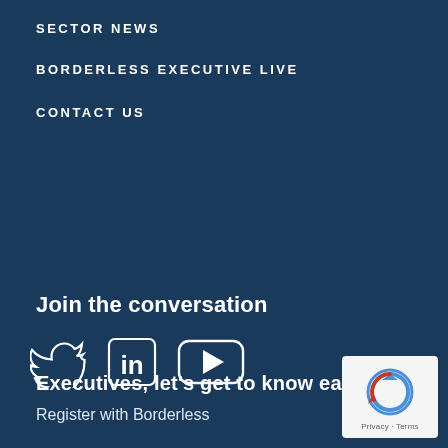SECTOR NEWS
BORDERLESS EXECUTIVE LIVE
CONTACT US
Join the conversation
[Figure (illustration): Social media icons: Twitter bird, LinkedIn 'in' logo, YouTube play button icon]
Executives, let's get to know each other
Register with Borderless
[Figure (logo): reCAPTCHA logo with Privacy and Terms links]